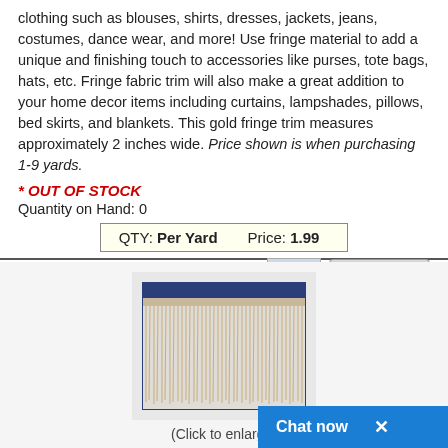clothing such as blouses, shirts, dresses, jackets, jeans, costumes, dance wear, and more! Use fringe material to add a unique and finishing touch to accessories like purses, tote bags, hats, etc. Fringe fabric trim will also make a great addition to your home decor items including curtains, lampshades, pillows, bed skirts, and blankets. This gold fringe trim measures approximately 2 inches wide. Price shown is when purchasing 1-9 yards.
* OUT OF STOCK
Quantity on Hand: 0
| QTY | Per Yard | Price | 1.99 |
| --- | --- | --- | --- |
Item #: RGFR-2-V02-A
[Figure (photo): Photo of ivory fringe trim fabric showing cream/beige fringe threads hanging from a navy blue woven band header]
(Click to enlarge)
Ivory Fringe Trim - Fringe Material - Fringe Fabric Trim